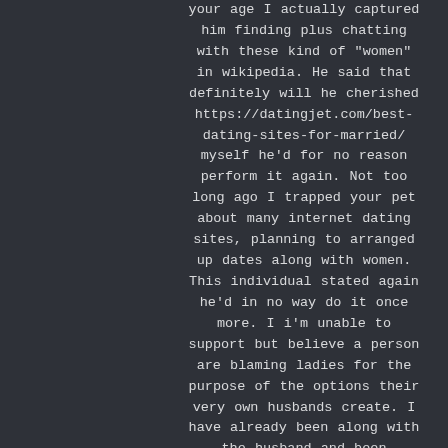your age I actually captured him finding plus chatting with these kind of "women" in wikipedia. He said that definitely will he cherished https://datingjet.com/best-dating-sites-for-married/ myself he'd for no reason perform it again. Not too long ago I trapped your pet about many internet dating sites, planning to arranged up dates along with women. This individual stated again he'd in no way do it once more. I i'm unable to support but believe a person are blaming ladies for the purpose of the options their very own husbands create. I have already been along with the husband and been faithful on your pet for the purpose of 8 seasons now. My personal birthday dropped between situations this individual was texting ahead of I discovered out plus daily among his texts in order to them this individual has been text messaging me stating how much they loves me personally. All of us had a lengthy speak and stated we'd make an effort